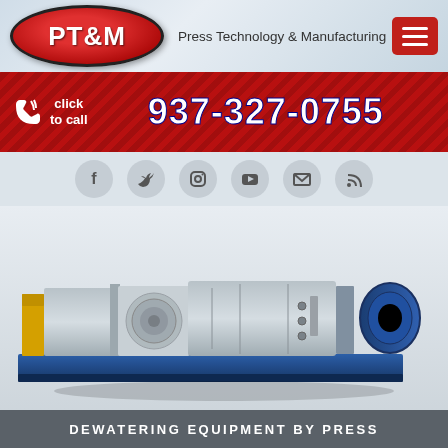[Figure (logo): PT&M Press Technology & Manufacturing logo with red oval badge and navigation menu button]
click to call  937-327-0755
[Figure (infographic): Social media icons bar: Facebook, Twitter, Instagram, YouTube, Email, RSS]
[Figure (photo): Industrial dewatering press screw machine with blue base frame, grey housing, and blue motor drive]
DEWATERING EQUIPMENT BY PRESS